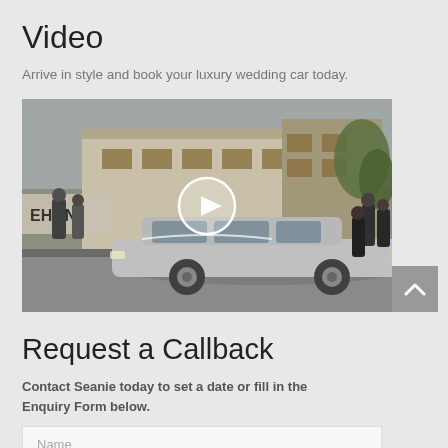Video
Arrive in style and book your luxury wedding car today.
[Figure (screenshot): Video thumbnail showing a silver luxury wedding car (Chrysler 300) parked outside a hotel/venue with people in formal attire standing around it. A white circular play button overlay is centered on the image. A building with 'EHON' signage and lush greenery is visible in the background.]
Request a Callback
Contact Seanie today to set a date or fill in the Enquiry Form below.
Name